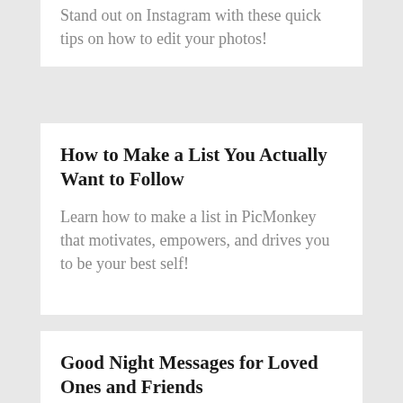Stand out on Instagram with these quick tips on how to edit your photos!
How to Make a List You Actually Want to Follow
Learn how to make a list in PicMonkey that motivates, empowers, and drives you to be your best self!
Good Night Messages for Loved Ones and Friends
Help your loved ones and friends find peace in their dreams with our good night messages.